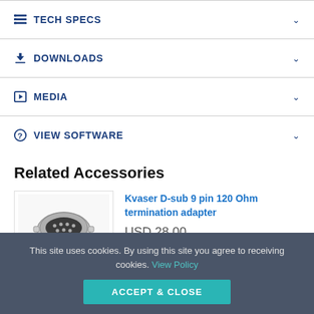TECH SPECS
DOWNLOADS
MEDIA
VIEW SOFTWARE
Related Accessories
[Figure (photo): Photo of Kvaser D-sub 9 pin 120 Ohm termination adapter, a small metallic connector]
Kvaser D-sub 9 pin 120 Ohm termination adapter
USD 28.00
Buy
This site uses cookies. By using this site you agree to receiving cookies. View Policy
ACCEPT & CLOSE